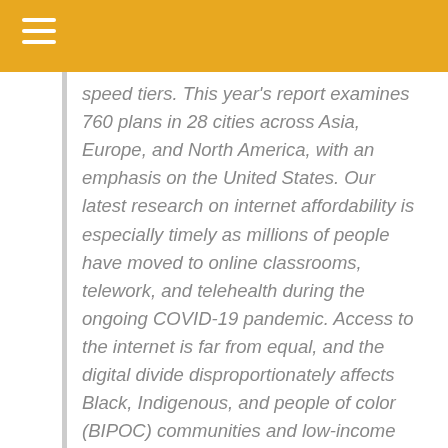speed tiers. This year's report examines 760 plans in 28 cities across Asia, Europe, and North America, with an emphasis on the United States. Our latest research on internet affordability is especially timely as millions of people have moved to online classrooms, telework, and telehealth during the ongoing COVID-19 pandemic. Access to the internet is far from equal, and the digital divide disproportionately affects Black, Indigenous, and people of color (BIPOC) communities and low-income households. We've long known that cost is one of the biggest barriers to internet adoption, and it is likely to become an